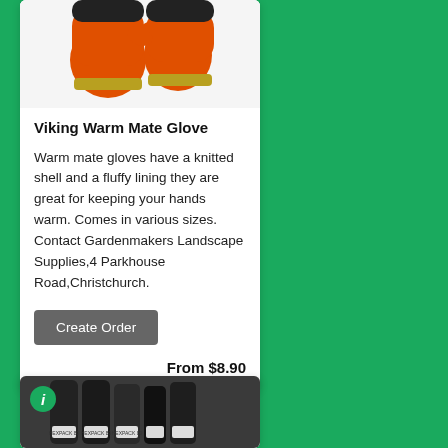[Figure (photo): Orange and black Viking Warm Mate gloves photographed from above, showing knitted shell and fluffy lining, displayed against white background]
Viking Warm Mate Glove
Warm mate gloves have a knitted shell and a fluffy lining they are great for keeping your hands warm. Comes in various sizes. Contact Gardenmakers Landscape Supplies,4 Parkhouse Road,Christchurch.
Create Order
From $8.90
[Figure (photo): Black cylindrical product tubes/rolls (likely drainage or irrigation supplies) in a bundle, with info badge in top left corner]